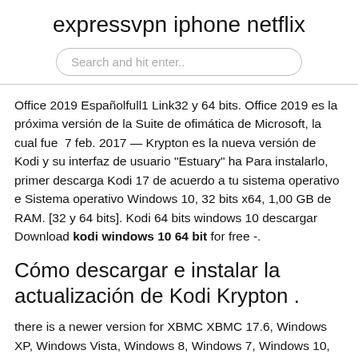expressvpn iphone netflix
[Figure (screenshot): Search input box with placeholder text 'Search and hit enter..']
Office 2019 Españolfull1 Link32 y 64 bits. Office 2019 es la próxima versión de la Suite de ofimática de Microsoft, la cual fue  7 feb. 2017 — Krypton es la nueva versión de Kodi y su interfaz de usuario "Estuary" ha Para instalarlo, primer descarga Kodi 17 de acuerdo a tu sistema operativo e Sistema operativo Windows 10, 32 bits x64, 1,00 GB de RAM. [32 y 64 bits]. Kodi 64 bits windows 10 descargar Download kodi windows 10 64 bit for free -.
Cómo descargar e instalar la actualización de Kodi Krypton .
there is a newer version for XBMC XBMC 17.6, Windows XP, Windows Vista, Windows 8, Windows 7, Windows 10, 16.11. Kodi® media center is an award-winning free and open source cross-platform software media player and entertainment hub for digital media for HTPCs (Home  1) Vaya al sitio web de descarga de Kodi y seleccione Windows . 10) Seleccione Kodi